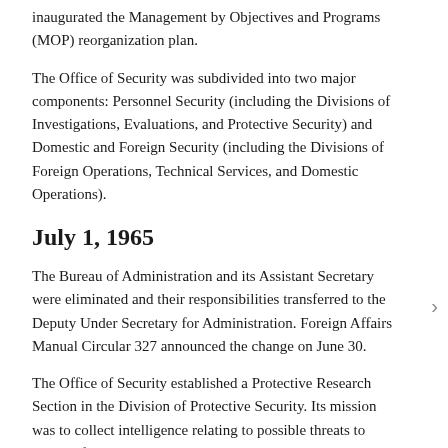inaugurated the Management by Objectives and Programs (MOP) reorganization plan.
The Office of Security was subdivided into two major components: Personnel Security (including the Divisions of Investigations, Evaluations, and Protective Security) and Domestic and Foreign Security (including the Divisions of Foreign Operations, Technical Services, and Domestic Operations).
July 1, 1965
The Bureau of Administration and its Assistant Secretary were eliminated and their responsibilities transferred to the Deputy Under Secretary for Administration. Foreign Affairs Manual Circular 327 announced the change on June 30.
The Office of Security established a Protective Research Section in the Division of Protective Security. Its mission was to collect intelligence relating to possible threats to visiting foreign dignitaries.